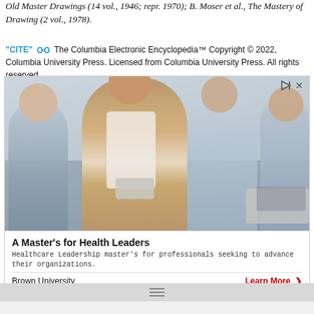Old Master Drawings (14 vol., 1946; repr. 1970); B. Moser et al., The Mastery of Drawing (2 vol., 1978).
"CITE" [link icon] The Columbia Electronic Encyclopedia™ Copyright © 2022, Columbia University Press. Licensed from Columbia University Press. All rights reserved.
[Figure (photo): Advertisement photo showing a woman in a tan blazer presenting to a group in a classroom or meeting room setting. Brown University ad for A Master's for Health Leaders program.]
A Master's for Health Leaders
Healthcare Leadership master's for professionals seeking to advance their organizations.
Brown University    Learn More >